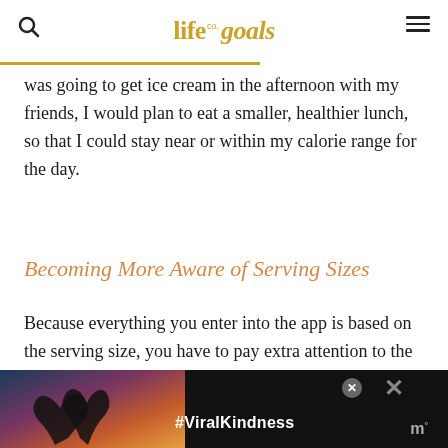life co. goals
was going to get ice cream in the afternoon with my friends, I would plan to eat a smaller, healthier lunch, so that I could stay near or within my calorie range for the day.
Becoming More Aware of Serving Sizes
Because everything you enter into the app is based on the serving size, you have to pay extra attention to the nutrition facts and labels on everything that you eat. I have used my measuring cups more in the past few weeks
[Figure (photo): Advertisement banner showing silhouette of hands forming a heart shape against a colorful sunset sky, with text #ViralKindness]